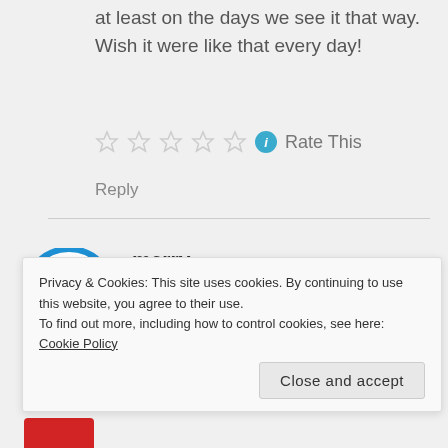at least on the days we see it that way. Wish it were like that every day!
[Figure (other): Five empty star rating icons followed by a teal info button and Rate This text]
Reply
merry
FEBRUARY 3, 2011 AT 11:57 AM
[Figure (logo): Blue circular power/avatar icon for commenter merry]
What a fabulous experience, Anne. It
Privacy & Cookies: This site uses cookies. By continuing to use this website, you agree to their use. To find out more, including how to control cookies, see here: Cookie Policy
Close and accept